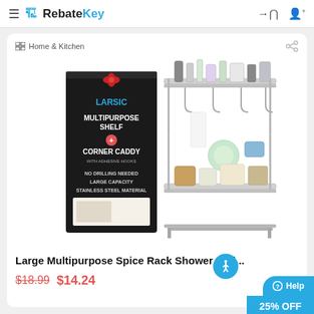RebateKey
Home & Kitchen
[Figure (photo): Product photo of LARSIC Multipurpose Shelf + Corner Caddy with adhesive hooks, stainless steel material, no drilling needed, large capacity. Shows product box and the shelf loaded with bathroom/kitchen items.]
Large Multipurpose Spice Rack Shower Caddy
$18.99 $14.24
Help 25% OFF